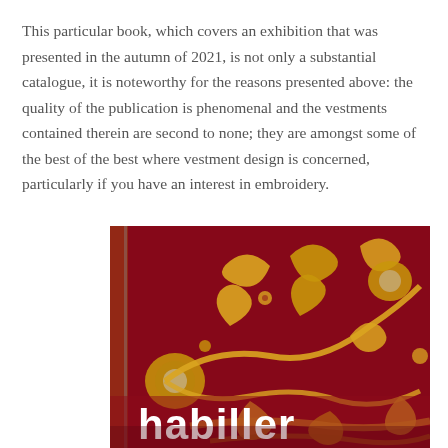This particular book, which covers an exhibition that was presented in the autumn of 2021, is not only a substantial catalogue, it is noteworthy for the reasons presented above: the quality of the publication is phenomenal and the vestments contained therein are second to none; they are amongst some of the best of the best where vestment design is concerned, particularly if you have an interest in embroidery.
[Figure (photo): Book cover showing a rich crimson/red background with elaborate gold floral and foliate embroidery designs. The word 'habiller' is displayed in white bold text at the bottom of the cover.]